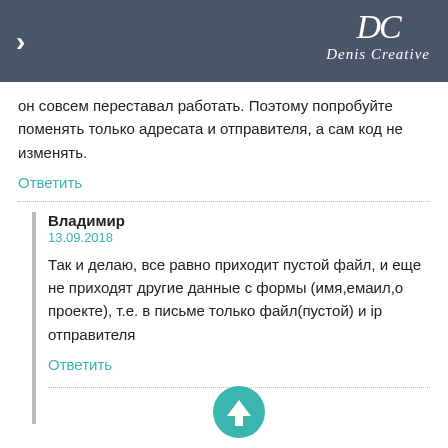Denis Creative
он совсем переставал работать. Поэтому попробуйте поменять только адресата и отправителя, а сам код не изменять.
Ответить
Владимир
13.09.2018
Так и делаю, все равно приходит пустой файл, и еще не приходят другие данные с формы (имя,емаил,о проекте), т.е. в письме только файл(пустой) и ip отправителя
Ответить